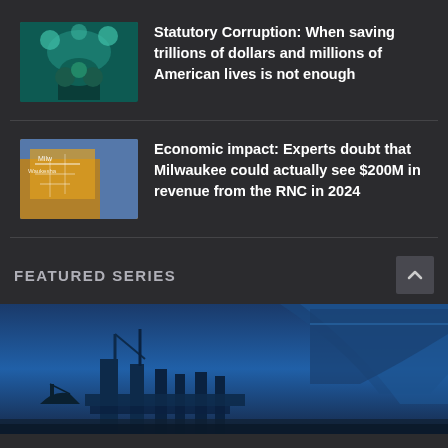Statutory Corruption: When saving trillions of dollars and millions of American lives is not enough
Economic impact: Experts doubt that Milwaukee could actually see $200M in revenue from the RNC in 2024
FEATURED SERIES
[Figure (photo): Blue-tinted photo of a collapsed or damaged bridge and infrastructure]